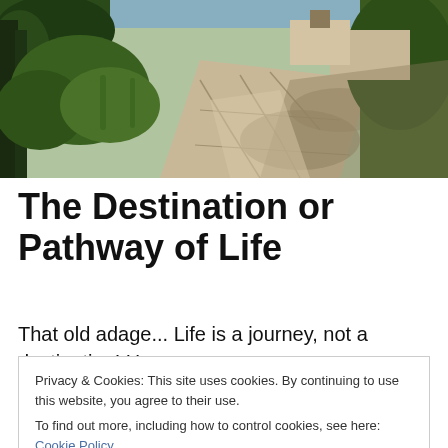[Figure (photo): A stone pathway winding through trees and grass in a sunny outdoor setting, with shadows cast across the flagstone path.]
The Destination or Pathway of Life
That old adage... Life is a journey, not a destination! Have
Privacy & Cookies: This site uses cookies. By continuing to use this website, you agree to their use.
To find out more, including how to control cookies, see here: Cookie Policy
Close and accept